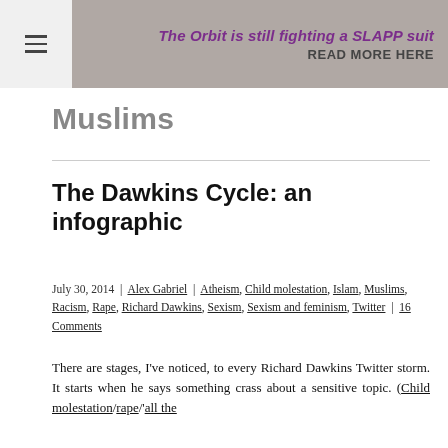[Figure (other): Website banner with hamburger menu icon on left, grayscale hand/person image background, purple italic text 'The Orbit is still fighting a SLAPP suit' and bold dark text 'READ MORE HERE' on right side]
Muslims
The Dawkins Cycle: an infographic
July 30, 2014 | Alex Gabriel | Atheism, Child molestation, Islam, Muslims, Racism, Rape, Richard Dawkins, Sexism, Sexism and feminism, Twitter | 16 Comments
There are stages, I've noticed, to every Richard Dawkins Twitter storm. It starts when he says something crass about a sensitive topic. (Child molestation/rape/'all the world's Muslims'...